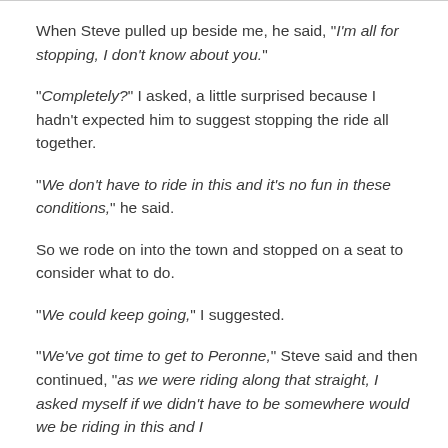When Steve pulled up beside me, he said, "I'm all for stopping, I don't know about you."
"Completely?" I asked, a little surprised because I hadn't expected him to suggest stopping the ride all together.
"We don't have to ride in this and it's no fun in these conditions," he said.
So we rode on into the town and stopped on a seat to consider what to do.
"We could keep going," I suggested.
"We've got time to get to Peronne," Steve said and then continued, "as we were riding along that straight, I asked myself if we didn't have to be somewhere would we be riding in this and I